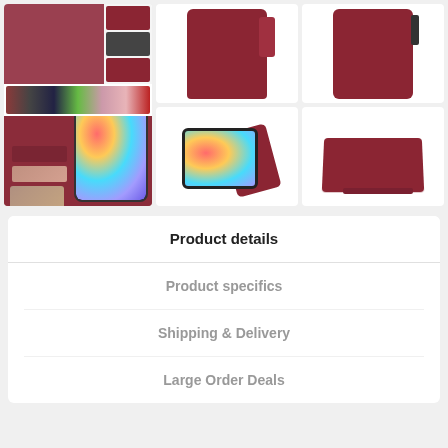[Figure (photo): Product gallery showing a burgundy/wine-red wallet phone case for Samsung Galaxy in six image tiles: top-left composite shows case angles and color variants strip plus open wallet with phone; middle and right columns show front closed case, angled standing case views]
Product details
Product specifics
Shipping & Delivery
Large Order Deals